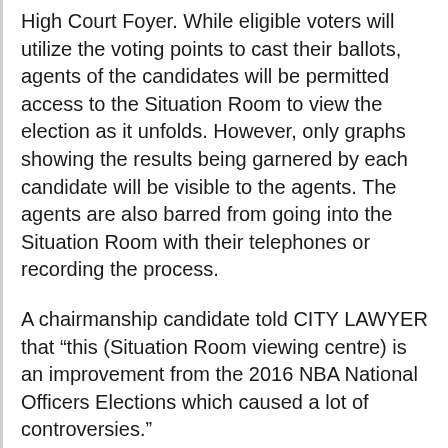High Court Foyer. While eligible voters will utilize the voting points to cast their ballots, agents of the candidates will be permitted access to the Situation Room to view the election as it unfolds. However, only graphs showing the results being garnered by each candidate will be visible to the agents. The agents are also barred from going into the Situation Room with their telephones or recording the process.
A chairmanship candidate told CITY LAWYER that “this (Situation Room viewing centre) is an improvement from the 2016 NBA National Officers Elections which caused a lot of controversies.”